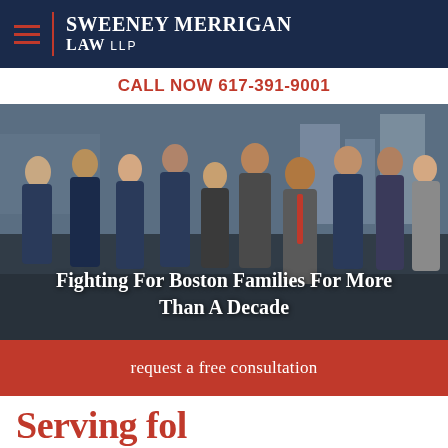Sweeney Merrigan Law LLP
CALL NOW 617-391-9001
[Figure (photo): Group photo of Sweeney Merrigan Law LLP attorneys in business attire posing outdoors with a city skyline in the background.]
Fighting For Boston Families For More Than A Decade
request a free consultation
Serving fol...